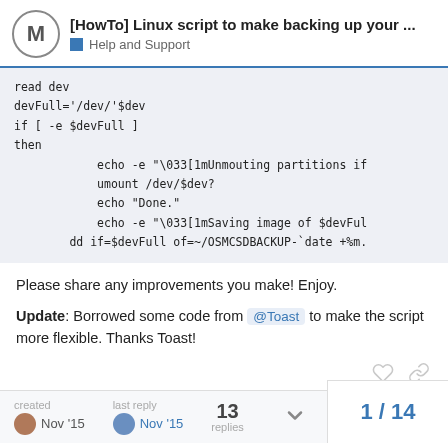[HowTo] Linux script to make backing up your ... | Help and Support
read dev
devFull='/dev/'$dev
if [ -e $devFull ]
then
        echo -e "\033[1mUnmouting partitions if
        umount /dev/$dev?
        echo "Done."
        echo -e "\033[1mSaving image of $devFul
   dd if=$devFull of=~/OSMCSDBACKUP-`date +%m.
Please share any improvements you make! Enjoy.
Update: Borrowed some code from @Toast to make the script more flexible. Thanks Toast!
created Nov '15 | last reply Nov '15 | 13 replies | 1 / 14